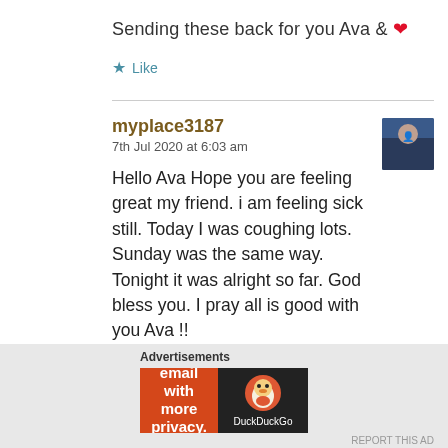Sending these back for you Ava & ❤
★ Like
myplace3187
7th Jul 2020 at 6:03 am
Hello Ava Hope you are feeling great my friend. i am feeling sick still. Today I was coughing lots. Sunday was the same way. Tonight it was alright so far. God bless you. I pray all is good with you Ava !!
★ Liked by 1 person
[Figure (screenshot): DuckDuckGo advertisement banner: orange left section with 'Search, browse, and email with more privacy. All in One Free App' and dark right section with DuckDuckGo logo]
Advertisements